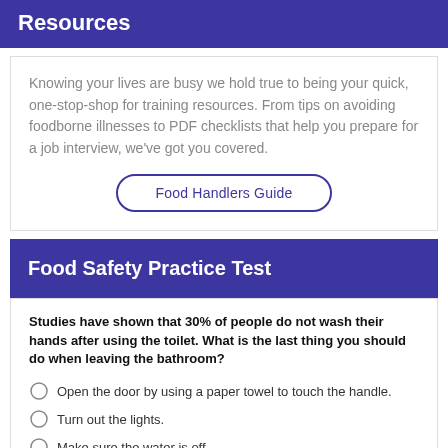Resources
Knowing your lives are busy we hold true to being your quick, one-stop-shop for training resources. From tips on avoiding foodborne illnesses to PDF checklists that help you prepare for a job interview, we've got you covered.
Food Handlers Guide
Food Safety Practice Test
Studies have shown that 30% of people do not wash their hands after using the toilet. What is the last thing you should do when leaving the bathroom?
Open the door by using a paper towel to touch the handle.
Turn out the lights.
Make sure the water is off.
Put on hand cream
Answer